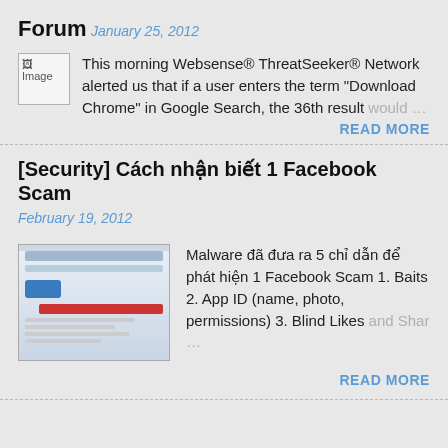Forum
January 25, 2012
This morning Websense® ThreatSeeker® Network alerted us that if a user enters the term "Download Chrome" in Google Search, the 36th result would …
READ MORE
[Security] Cách nhận biết 1 Facebook Scam
February 19, 2012
Malware đã đưa ra 5 chỉ dẫn để phát hiện 1 Facebook Scam 1. Baits 2. App ID (name, photo, permissions) 3. Blind Likes and Shar …
READ MORE